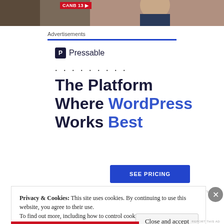[Figure (photo): Top strip showing a TV broadcast screenshot with CANB 13 badge and a person in a suit]
Advertisements
[Figure (logo): Pressable logo with P icon in dark navy box followed by the word Pressable]
. . . . . . . . .
The Platform Where WordPress Works Best
SEE PRICING
REPORT THIS AD
Privacy & Cookies: This site uses cookies. By continuing to use this website, you agree to their use.
To find out more, including how to control cookies, see here: Cookie Policy
Close and accept